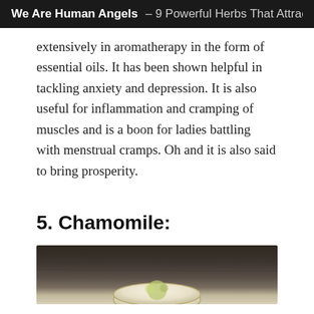We Are Human Angels – 9 Powerful Herbs That Attract
extensively in aromatherapy in the form of essential oils. It has been shown helpful in tackling anxiety and depression. It is also useful for inflammation and cramping of muscles and is a boon for ladies battling with menstrual cramps. Oh and it is also said to bring prosperity.
5. Chamomile:
[Figure (photo): A photograph showing a bowl or cup with chamomile herbs/flowers, on a dark wooden surface background.]